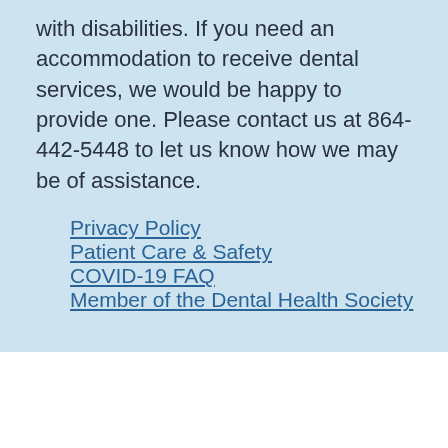with disabilities. If you need an accommodation to receive dental services, we would be happy to provide one. Please contact us at 864-442-5448 to let us know how we may be of assistance.
Privacy Policy
Patient Care & Safety
COVID-19 FAQ
Member of the Dental Health Society